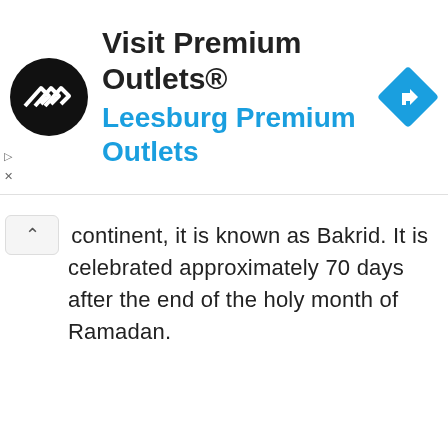[Figure (infographic): Advertisement banner for 'Visit Premium Outlets® Leesburg Premium Outlets' with a circular black logo, bold title text, blue subtitle, and a blue diamond-shaped navigation icon on the right.]
continent, it is known as Bakrid. It is celebrated approximately 70 days after the end of the holy month of Ramadan.